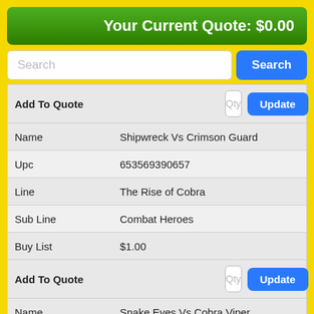Your Current Quote: $0.00
| Field | Value |
| --- | --- |
| Add To Quote | Qty / Update |
| Name | Shipwreck Vs Crimson Guard |
| Upc | 653569390657 |
| Line | The Rise of Cobra |
| Sub Line | Combat Heroes |
| Buy List | $1.00 |
| Add To Quote | Qty / Update |
| Name | Snake Eyes Vs Cobra Viper |
| Upc | 653569390633 |
| Line | The Rise of Cobra |
| Sub Line | Combat Heroes |
| Buy List | $1.00 |
| Add To Quote | Qty / Update |